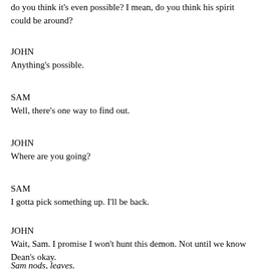do you think it's even possible? I mean, do you think his spirit could be around?
JOHN
Anything's possible.
SAM
Well, there's one way to find out.
JOHN
Where are you going?
SAM
I gotta pick something up. I'll be back.
JOHN
Wait, Sam. I promise I won't hunt this demon. Not until we know Dean's okay.
Sam nods, leaves.